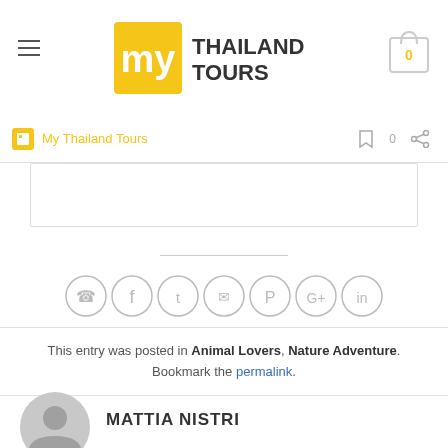[Figure (logo): My Thailand Tours logo with yellow 'my' box and dark 'THAILAND TOURS' text]
[Figure (illustration): Navigation menu hamburger icon (three horizontal lines)]
[Figure (illustration): Shopping cart icon with 0 count badge]
[Figure (illustration): Breadcrumb bar with yellow home icon, 'My Thailand Tours' text in yellow, and share/bookmark icons]
[Figure (illustration): White content box with border]
[Figure (illustration): Row of 7 social sharing icons: phone, facebook, twitter, email, pinterest, google+, linkedin — all circular with gray outlines]
This entry was posted in Animal Lovers, Nature Adventure. Bookmark the permalink.
MATTIA NISTRI
[Figure (illustration): Gray circular user/avatar placeholder icon]